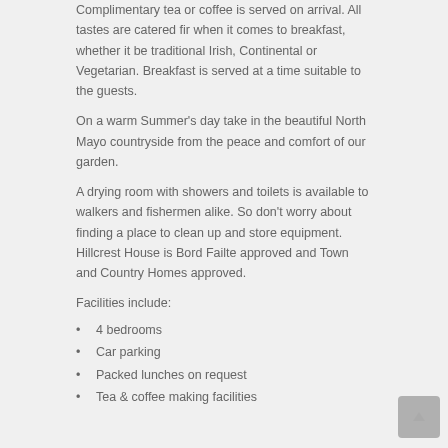Complimentary tea or coffee is served on arrival. All tastes are catered fir when it comes to breakfast, whether it be traditional Irish, Continental or Vegetarian. Breakfast is served at a time suitable to the guests.
On a warm Summer's day take in the beautiful North Mayo countryside from the peace and comfort of our garden.
A drying room with showers and toilets is available to walkers and fishermen alike. So don't worry about finding a place to clean up and store equipment. Hillcrest House is Bord Failte approved and Town and Country Homes approved.
Facilities include:
4 bedrooms
Car parking
Packed lunches on request
Tea & coffee making facilities